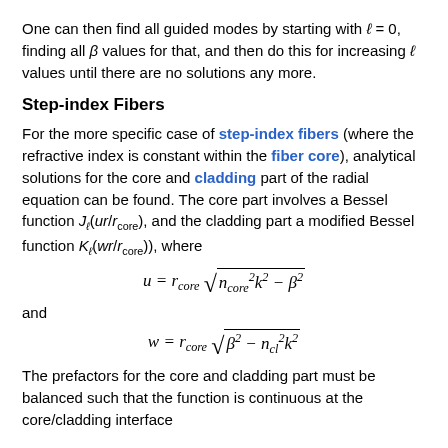One can then find all guided modes by starting with ℓ = 0, finding all β values for that, and then do this for increasing ℓ values until there are no solutions any more.
Step-index Fibers
For the more specific case of step-index fibers (where the refractive index is constant within the fiber core), analytical solutions for the core and cladding part of the radial equation can be found. The core part involves a Bessel function J_ℓ(ur/r_core), and the cladding part a modified Bessel function K_ℓ(wr/r_core)), where
and
The prefactors for the core and cladding part must be balanced such that the function is continuous at the core/cladding interface